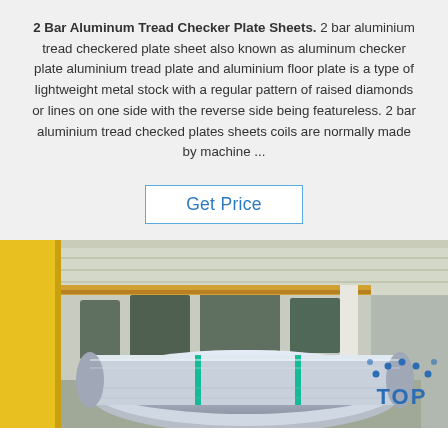2 Bar Aluminum Tread Checker Plate Sheets. 2 bar aluminium tread checkered plate sheet also known as aluminum checker plate aluminium tread plate and aluminium floor plate is a type of lightweight metal stock with a regular pattern of raised diamonds or lines on one side with the reverse side being featureless. 2 bar aluminium tread checked plates sheets coils are normally made by machine ...
Get Price
[Figure (photo): Factory/warehouse interior showing a large aluminum coil roll on the floor, with yellow structural columns and industrial overhead cranes visible in the background.]